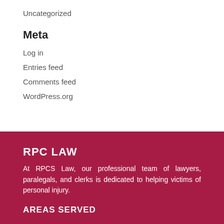Uncategorized
Meta
Log in
Entries feed
Comments feed
WordPress.org
RPC LAW
At RPCS Law, our professional team of lawyers, paralegals, and clerks is dedicated to helping victims of personal injury.
AREAS SERVED